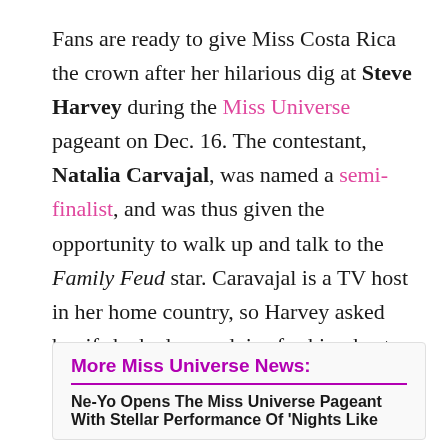Fans are ready to give Miss Costa Rica the crown after her hilarious dig at Steve Harvey during the Miss Universe pageant on Dec. 16. The contestant, Natalia Carvajal, was named a semi-finalist, and was thus given the opportunity to walk up and talk to the Family Feud star. Caravajal is a TV host in her home country, so Harvey asked her if she had any advice for him, host-to-host, and man did she have some things to tell him.
More Miss Universe News:
Ne-Yo Opens The Miss Universe Pageant With Stellar Performance Of 'Nights Like